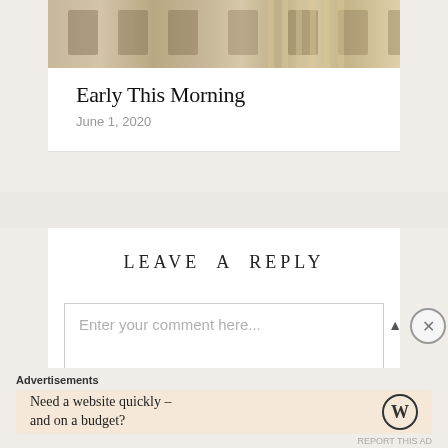[Figure (photo): Photograph of chairs in a room with warm sunlight creating vertical stripe patterns]
Early This Morning
June 1, 2020
LEAVE A REPLY
Enter your comment here...
Advertisements
Need a website quickly – and on a budget?